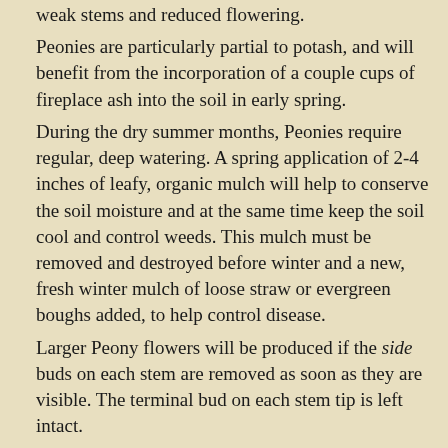weak stems and reduced flowering.
Peonies are particularly partial to potash, and will benefit from the incorporation of a couple cups of fireplace ash into the soil in early spring.
During the dry summer months, Peonies require regular, deep watering. A spring application of 2-4 inches of leafy, organic mulch will help to conserve the soil moisture and at the same time keep the soil cool and control weeds. This mulch must be removed and destroyed before winter and a new, fresh winter mulch of loose straw or evergreen boughs added, to help control disease.
Larger Peony flowers will be produced if the side buds on each stem are removed as soon as they are visible. The terminal bud on each stem tip is left intact.
To prevent the flowers from breaking or bending over during a strong wind or rain, provide a sturdy plant stake and tie the stem loosely to it with garden twine or strips of cloth.
Remove the flowers as soon as they fade to prevent seed development, which will use up needed food reserves, and effect next years bloom. In the fall, after the foliage dies back, cut the stems back to three